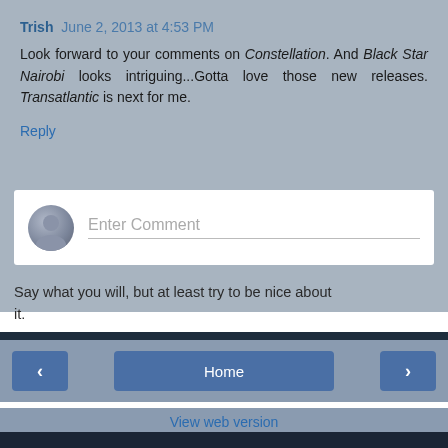Trish June 2, 2013 at 4:53 PM
Look forward to your comments on Constellation. And Black Star Nairobi looks intriguing...Gotta love those new releases. Transatlantic is next for me.
Reply
[Figure (screenshot): Enter Comment input box with avatar icon placeholder]
Say what you will, but at least try to be nice about it.
Home
View web version
ABOUT ME
NancyO